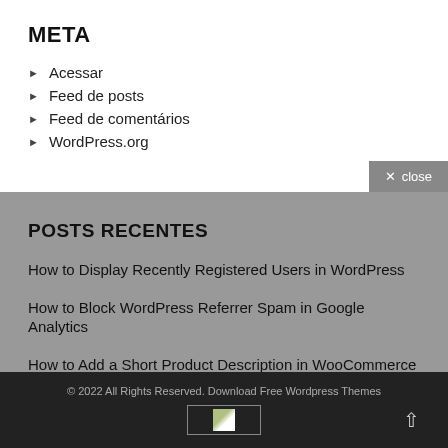META
Acessar
Feed de posts
Feed de comentários
WordPress.org
POSTS RECENTES
How to Display Recently Registered Users in WordPress
How to Block WordPress Referrer Spam in Google Analytics
How to Add a Short Product Description in WooCommerce
© 2022 All Rights Reserved. Download Free Wordpress Themes